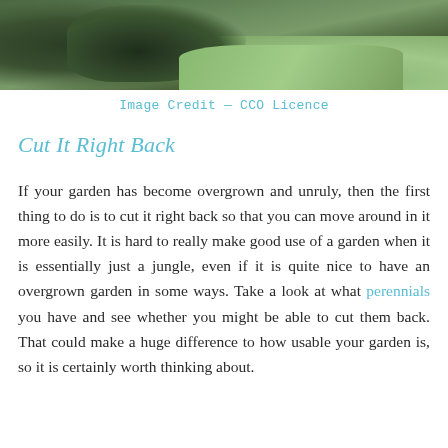[Figure (photo): Garden photo showing overgrown dark green foliage/shrubs on the left and lush bright green grass on the right]
Image Credit — CCO Licence
Cut It Right Back
If your garden has become overgrown and unruly, then the first thing to do is to cut it right back so that you can move around in it more easily. It is hard to really make good use of a garden when it is essentially just a jungle, even if it is quite nice to have an overgrown garden in some ways. Take a look at what perennials you have and see whether you might be able to cut them back. That could make a huge difference to how usable your garden is, so it is certainly worth thinking about.